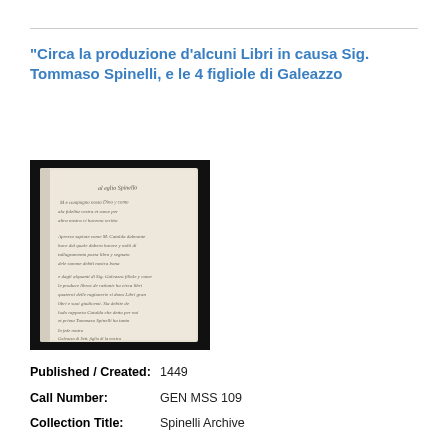“Circa la produzione d’alcuni Libri in causa Sig. Tommaso Spinelli, e le 4 figliole di Galeazzo
[Figure (photo): Photograph of a handwritten historical manuscript document, showing cursive Italian script on aged paper, set against a black background.]
Published / Created: 1449
Call Number: GEN MSS 109
Collection Title: Spinelli Archive